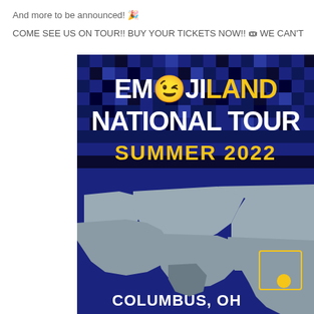And more to be announced! 🎉
COME SEE US ON TOUR!! BUY YOUR TICKETS NOW!! 🎟 WE CAN'T
[Figure (illustration): Emojiland National Tour Summer 2022 promotional graphic featuring a map of the United States with a dark blue pixel/checkerboard patterned background in the upper portion, showing tour cities including Columbus, OH. The title reads 'EMOJILAND NATIONAL TOUR' in bold white and gold letters with a winking emoji face, and 'SUMMER 2022' in gold text below.]